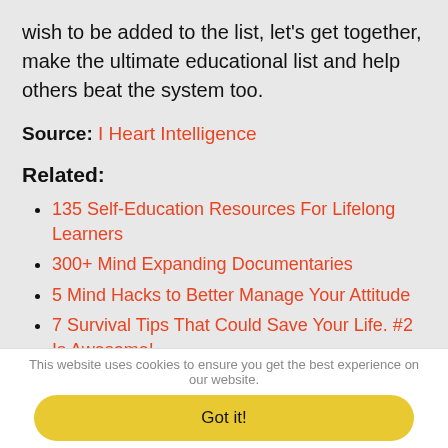wish to be added to the list, let's get together, make the ultimate educational list and help others beat the system too.
Source: I Heart Intelligence
Related:
135 Self-Education Resources For Lifelong Learners
300+ Mind Expanding Documentaries
5 Mind Hacks to Better Manage Your Attitude
7 Survival Tips That Could Save Your Life. #2 Is Awesome!
This website uses cookies to ensure you get the best experience on our website.
Got it!